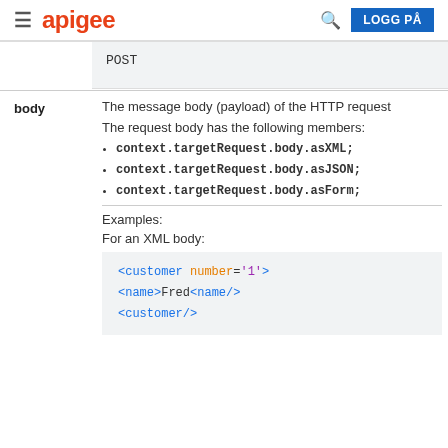apigee — LOGG PÅ
| POST |  |
| body | The message body (payload) of the HTTP request

The request body has the following members:

• context.targetRequest.body.asXML;
• context.targetRequest.body.asJSON;
• context.targetRequest.body.asForm;

Examples:

For an XML body:

<customer number='1'>
<name>Fred<name/>
<customer/> |
[Figure (screenshot): Code snippet showing XML: <customer number='1'>, <name>Fred<name/>, <customer/>]